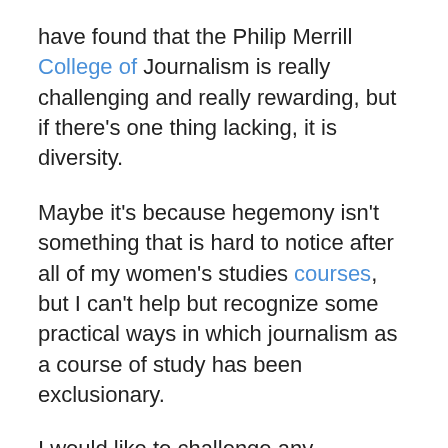have found that the Philip Merrill College of Journalism is really challenging and really rewarding, but if there's one thing lacking, it is diversity.
Maybe it's because hegemony isn't something that is hard to notice after all of my women's studies courses, but I can't help but recognize some practical ways in which journalism as a course of study has been exclusionary.
I would like to challenge any journalism major to complete the infamous 320 class that requires 10 published clips and secure an internship without their own vehicle, while working at a paid job. This is one simple way that journalism discourages poor or working class women to pursue the craft.
I was slightly offended that Povich dismissed a student's